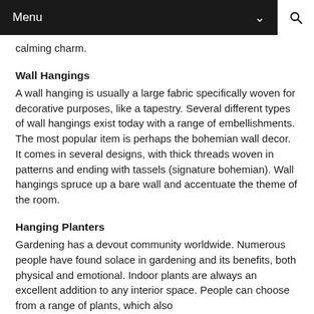Menu
calming charm.
Wall Hangings
A wall hanging is usually a large fabric specifically woven for decorative purposes, like a tapestry. Several different types of wall hangings exist today with a range of embellishments. The most popular item is perhaps the bohemian wall decor. It comes in several designs, with thick threads woven in patterns and ending with tassels (signature bohemian). Wall hangings spruce up a bare wall and accentuate the theme of the room.
Hanging Planters
Gardening has a devout community worldwide. Numerous people have found solace in gardening and its benefits, both physical and emotional. Indoor plants are always an excellent addition to any interior space. People can choose from a range of plants, which also